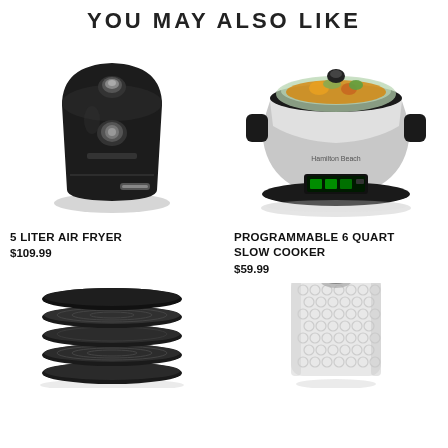YOU MAY ALSO LIKE
[Figure (photo): Black 5 liter air fryer on white background]
5 LITER AIR FRYER
$109.99
[Figure (photo): Hamilton Beach programmable 6 quart slow cooker, stainless steel with digital display and glass lid with food inside]
PROGRAMMABLE 6 QUART SLOW COOKER
$59.99
[Figure (photo): Black multi-tier food dehydrator trays stacked]
[Figure (photo): Roll of bubble wrap packaging material]